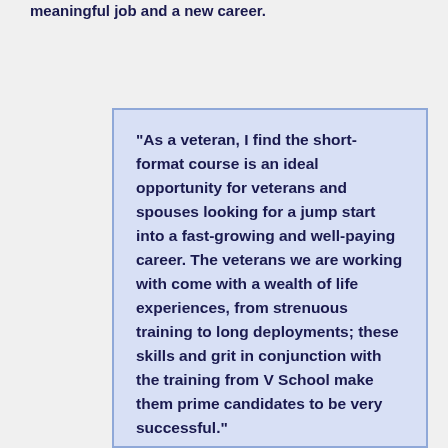meaningful job and a new career.
"As a veteran, I find the short-format course is an ideal opportunity for veterans and spouses looking for a jump start into a fast-growing and well-paying career. The veterans we are working with come with a wealth of life experiences, from strenuous training to long deployments; these skills and grit in conjunction with the training from V School make them prime candidates to be very successful."